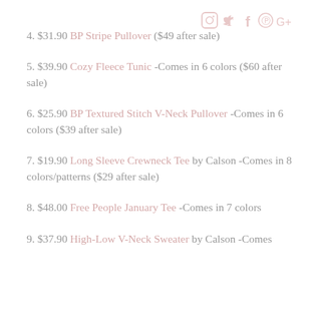[Figure (other): Social media icons: Instagram, Twitter, Facebook, Pinterest, Google+]
4. $31.90 BP Stripe Pullover ($49 after sale)
5. $39.90 Cozy Fleece Tunic -Comes in 6 colors ($60 after sale)
6. $25.90 BP Textured Stitch V-Neck Pullover -Comes in 6 colors ($39 after sale)
7. $19.90 Long Sleeve Crewneck Tee by Calson -Comes in 8 colors/patterns ($29 after sale)
8. $48.00 Free People January Tee -Comes in 7 colors
9. $37.90 High-Low V-Neck Sweater by Calson -Comes